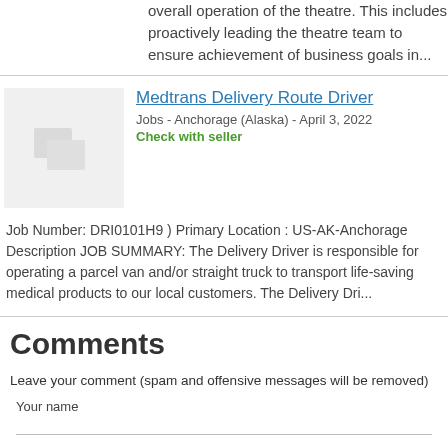overall operation of the theatre. This includes proactively leading the theatre team to ensure achievement of business goals in...
Medtrans Delivery Route Driver
Jobs - Anchorage (Alaska) - April 3, 2022
Check with seller
Job Number: DRI0101H9 ) Primary Location : US-AK-Anchorage Description JOB SUMMARY: The Delivery Driver is responsible for operating a parcel van and/or straight truck to transport life-saving medical products to our local customers. The Delivery Dri...
Comments
Leave your comment (spam and offensive messages will be removed)
Your name